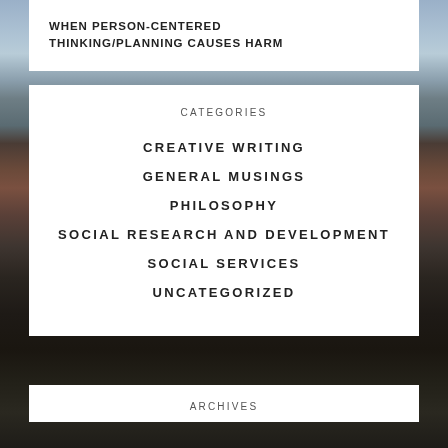WHEN PERSON-CENTERED THINKING/PLANNING CAUSES HARM
CATEGORIES
CREATIVE WRITING
GENERAL MUSINGS
PHILOSOPHY
SOCIAL RESEARCH AND DEVELOPMENT
SOCIAL SERVICES
UNCATEGORIZED
ARCHIVES